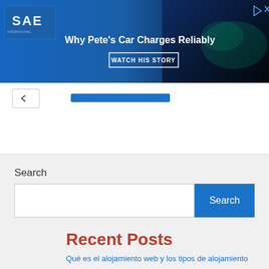[Figure (screenshot): SAE advertisement banner: blue background with SAE logo on left, text 'Why Pete's Car Charges Reliably' in white, 'WATCH HIS STORY' button, and a car charging image on right. Play and close icons in top-right corner.]
Search
Recent Posts
Qué es el alojamiento web y los tipos de alojamiento
Vidmate APK download latest version 2022 -The audio-video downloader app
How to add read more in blogger post? HTML Code